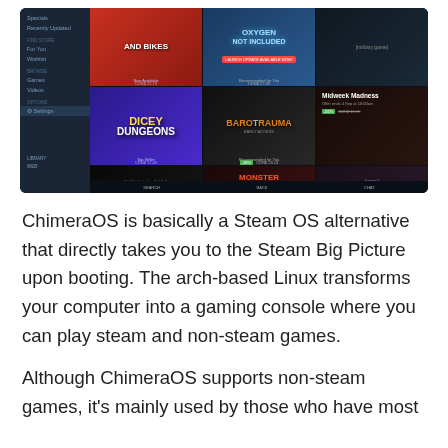[Figure (screenshot): Screenshot of Steam Big Picture mode showing game tiles including 'Cars and Bikes', 'Dicey Dungeons', 'Barotrauma', 'Oxygen Not Included', 'Monster Sanctuary', with a sidebar navigation and Midweek Madness offer panel.]
ChimeraOS is basically a Steam OS alternative that directly takes you to the Steam Big Picture upon booting. The arch-based Linux transforms your computer into a gaming console where you can play steam and non-steam games.
Although ChimeraOS supports non-steam games, it's mainly used by those who have most